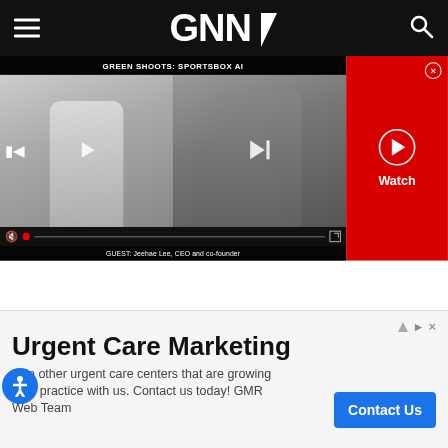GNN (Golf News Network) navigation bar with hamburger menu, GNN logo, and search icon
[Figure (screenshot): Video player showing 'GREEN SHOOTS: SPORTSBOX AI' with two panelists on screen, video controls, and guest label 'GUEST: Jeehae Lee, CEO and co-founder'. Red panel on right with Watch button and close X.]
on Wheeler Road. I remember meeting Rick Reilly for the first time. [Dan] Jenkins and Pat Summerall and Bob Drum were there, too, and a lot of the old football players like Paul Hornung and Sonny Jurgensen, who played on the Giants with Summerall. We all
[Figure (infographic): Advertisement banner: Urgent Care Marketing. Join other urgent care centers that are growing their practice with us. Contact us today! GMR Web Team. Blue 'Contact Us' button on right.]